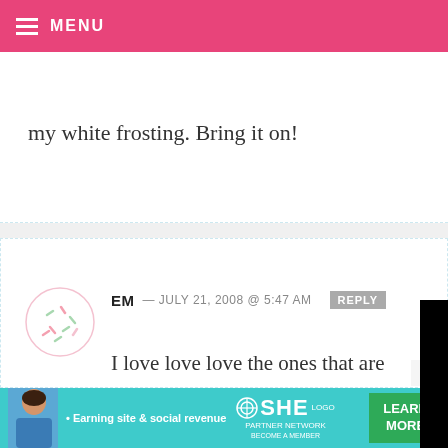MENU
my white frosting. Bring it on!
EM — JULY 21, 2008 @ 5:47 AM  REPLY

I love love love the ones that are good. The colo... moderati... the good... consistin... kind, is w...

My favorite color is the baby blue one
[Figure (screenshot): Black video player overlay with loading spinner]
[Figure (infographic): SHE Partner Network advertisement banner with teal background. Text: Earning site & social revenue. SHE PARTNER NETWORK BECOME A MEMBER. LEARN MORE button.]